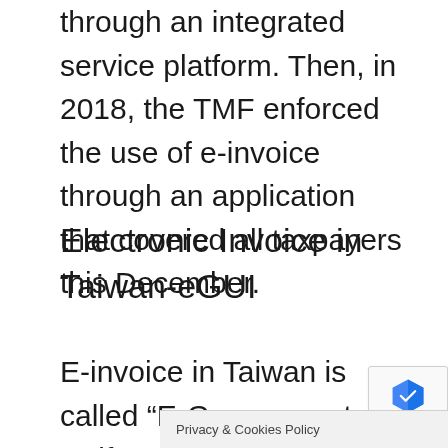through an integrated service platform. Then, in 2018, the TMF enforced the use of e-invoice through an application that covered all taxpayers this December.
Electronic Invoice in Taiwan-eGUI
E-invoice in Taiwan is called “E-Government Uniform Invoice”, also known as GUI or eGUI. EGUI is an invoice sent or received via the internet or other electronic means. The use of e-invoices is defined by the Uniform Invoice Usage Mo...